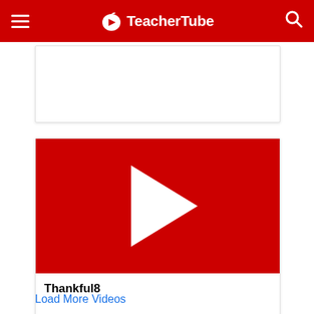TeacherTube
[Figure (screenshot): Partially visible video card from TeacherTube website]
[Figure (screenshot): TeacherTube video card with red play button thumbnail and title Thankful8]
Thankful8
Load More Videos